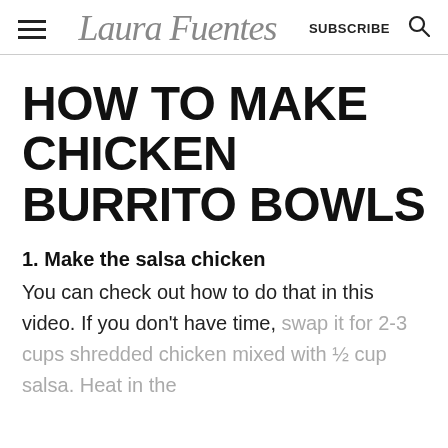Laura Fuentes | SUBSCRIBE
HOW TO MAKE CHICKEN BURRITO BOWLS
1. Make the salsa chicken
You can check out how to do that in this video. If you don't have time, swap it for 2-3 cups shredded chicken mixed with ½ cup salsa. Heat in the